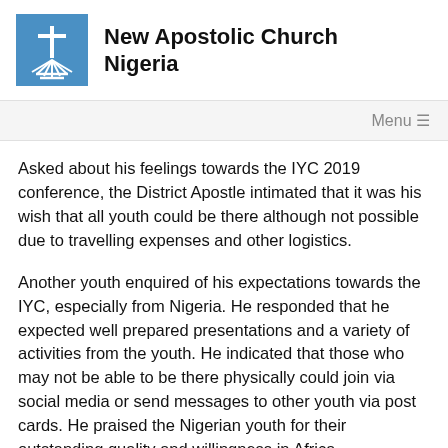New Apostolic Church Nigeria
Menu ☰
Asked about his feelings towards the IYC 2019 conference, the District Apostle intimated that it was his wish that all youth could be there although not possible due to travelling expenses and other logistics.
Another youth enquired of his expectations towards the IYC, especially from Nigeria. He responded that he expected well prepared presentations and a variety of activities from the youth. He indicated that those who may not be able to be there physically could join via social media or send messages to other youth via post cards. He praised the Nigerian youth for their outstanding quality and willingness in Africa.
In response to a question on the challenges being